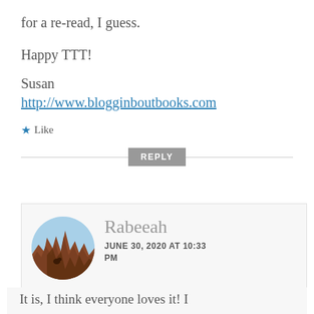for a re-read, I guess.
Happy TTT!
Susan
http://www.blogginboutbooks.com
Like
REPLY
Rabeeah
JUNE 30, 2020 AT 10:33 PM
It is, I think everyone loves it! I